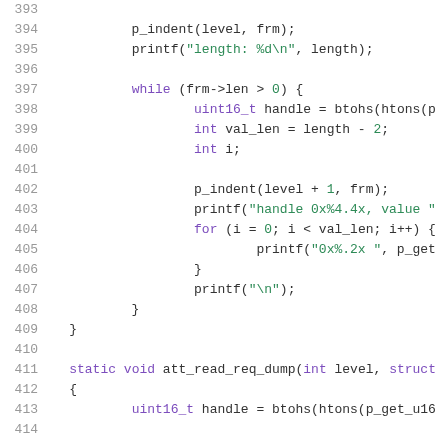[Figure (screenshot): Source code listing in C, lines 393–414, showing a while loop iterating over frm->len, calling p_indent, printf with handle and value format strings, and a new function att_read_req_dump declaration.]